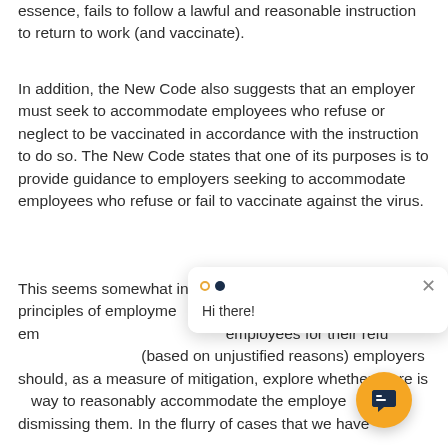essence, fails to follow a lawful and reasonable instruction to return to work (and vaccinate).
In addition, the New Code also suggests that an employer must seek to accommodate employees who refuse or neglect to be vaccinated in accordance with the instruction to do so. The New Code states that one of its purposes is to provide guidance to employers seeking to accommodate employees who refuse or fail to vaccinate against the virus.
This seems somewhat incongruent with the ordinary principles of employme... clarity on this issue em... employees for their refu... (based on unjustified reasons) employers should, as a measure of mitigation, explore whether there is way to reasonably accommodate the employe... to dismissing them. In the flurry of cases that we have
[Figure (other): Chat widget overlay showing 'Hi there!' message with close button, and an orange floating action button with chat icon in bottom right corner.]